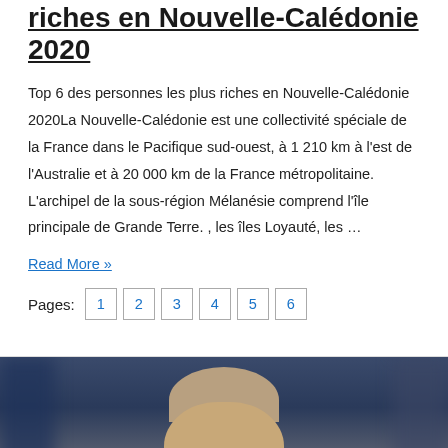riches en Nouvelle-Calédonie 2020
Top 6 des personnes les plus riches en Nouvelle-Calédonie 2020La Nouvelle-Calédonie est une collectivité spéciale de la France dans le Pacifique sud-ouest, à 1 210 km à l'est de l'Australie et à 20 000 km de la France métropolitaine. L'archipel de la sous-région Mélanésie comprend l'île principale de Grande Terre. , les îles Loyauté, les …
Read More »
Pages: 1 2 3 4 5 6
[Figure (photo): Portrait photo of a man with short brown hair against a blurred dark blue/grey background, slightly out of focus]